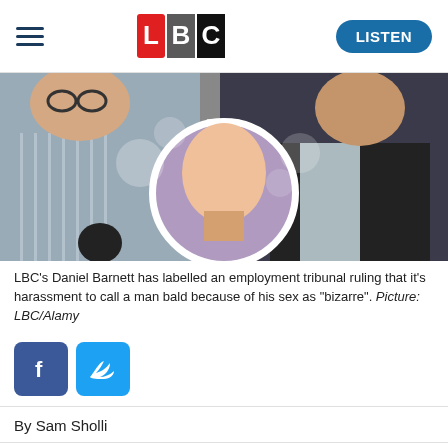LBC — LISTEN
[Figure (photo): Composite photo: LBC presenter Daniel Barnett on the left speaking into a microphone, a man with a shaved head (back view, circular inset) in the center, and another man in a dark suit on the right.]
LBC's Daniel Barnett has labelled an employment tribunal ruling that it's harassment to call a man bald because of his sex as "bizarre". Picture: LBC/Alamy
[Figure (other): Facebook and Twitter share icons]
By Sam Sholli
LBC's Daniel Barnett has labelled an